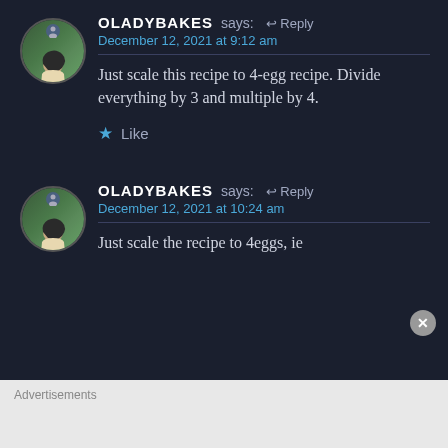OLADYBAKES says: ↩ Reply
December 12, 2021 at 9:12 am
Just scale this recipe to 4-egg recipe. Divide everything by 3 and multiple by 4.
★ Like
OLADYBAKES says: ↩ Reply
December 12, 2021 at 10:24 am
Just scale the recipe to 4eggs, ie
Advertisements